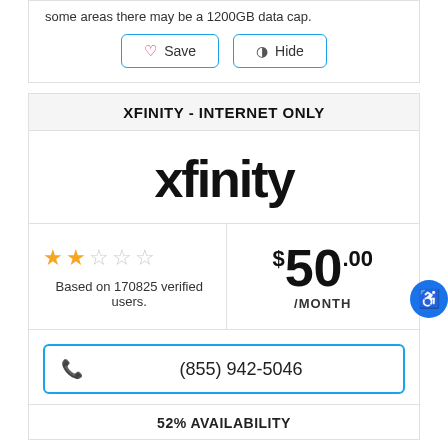some areas there may be a 1200GB data cap.
Save  Hide
XFINITY - INTERNET ONLY
[Figure (logo): xfinity logo in large bold black text]
★★☆☆☆ Based on 170825 verified users.
$50.00 /MONTH
(855) 942-5046
52% AVAILABILITY